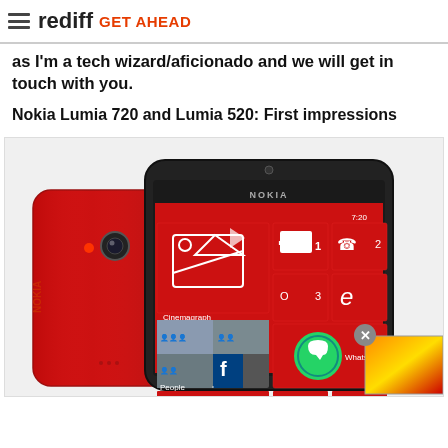rediff GET AHEAD
as I'm a tech wizard/aficionado and we will get in touch with you.
Nokia Lumia 720 and Lumia 520: First impressions
[Figure (photo): Nokia Lumia 720 smartphone in red color shown from front and back, displaying Windows Phone interface with red tiles including Cinemagraph, People, Facebook, WhatsApp, and other app tiles. Text '720' visible on screen. Nokia branding visible.]